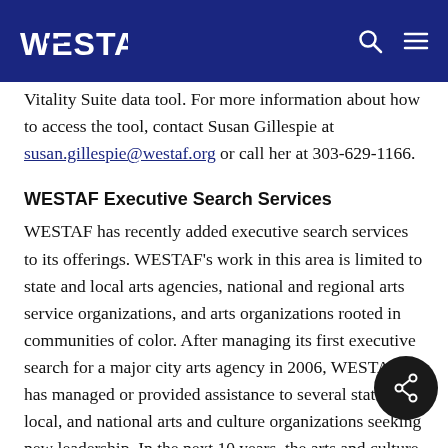WESTAF
Vitality Suite data tool. For more information about how to access the tool, contact Susan Gillespie at susan.gillespie@westaf.org or call her at 303-629-1166.
WESTAF Executive Search Services
WESTAF has recently added executive search services to its offerings. WESTAF’s work in this area is limited to state and local arts agencies, national and regional arts service organizations, and arts organizations rooted in communities of color. After managing its first executive search for a major city arts agency in 2006, WESTAF has managed or provided assistance to several state, local, and national arts and culture organizations seeking new leadership. In the next 10 years, the arts and culture field will undergo a major change in personnel as the